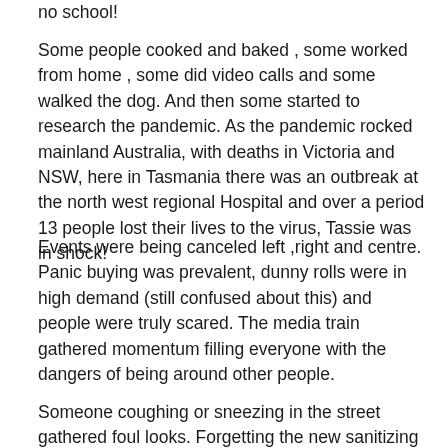no school!
Some people cooked and baked , some worked from home , some did video calls and some walked the dog. And then some started to research the pandemic. As the pandemic rocked mainland Australia, with deaths in Victoria and NSW, here in Tasmania there was an outbreak at the north west regional Hospital and over a period 13 people lost their lives to the virus, Tassie was in shock!
Events were being canceled left ,right and centre. Panic buying was prevalent, dunny rolls were in high demand (still confused about this) and people were truly scared. The media train gathered momentum filling everyone with the dangers of being around other people.
Someone coughing or sneezing in the street gathered foul looks. Forgetting the new sanitizing rules just once and